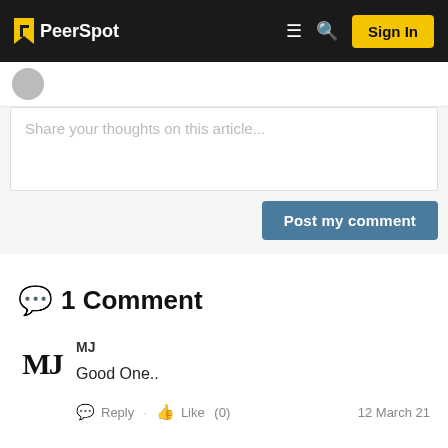PeerSpot — Sign In
Share your thoughts on this article...
Post my comment
1 Comment
MJ
Good One..
Reply · Like (0) — 12 March 21